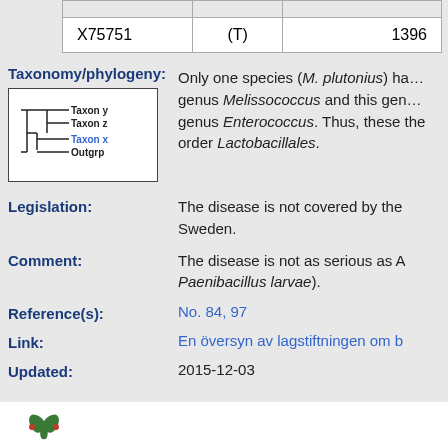|  |  |  |
| --- | --- | --- |
| X75751 | (T) | 1396 |
Taxonomy/phylogeny: Only one species (M. plutonius) has been described in the genus Melissococcus and this genus is closely related to the genus Enterococcus. Thus, these bacteria belong to the order Lactobacillales.
[Figure (illustration): Phylogenetic tree showing Taxon y, Taxon z, Taxon x (in blue), and Outgrp]
Legislation: The disease is not covered by the legislation in Sweden.
Comment: The disease is not as serious as American Foulbrood (Paenibacillus larvae).
Reference(s): No. 84, 97
Link: En översyn av lagstiftningen om b
Updated: 2015-12-03
[Figure (logo): SLU logo - green leaf symbol with SLU text below]